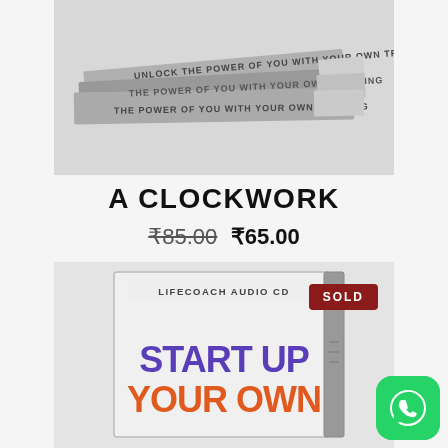[Figure (photo): Stack of books/training manuals with text 'UNLOCK THE POWER OF YOU WITH YOUR OWN TRAINING' visible on covers, shown in grayscale/black-and-white]
A CLOCKWORK
₹85.00  ₹65.00
[Figure (photo): CD case product image labeled 'LIFECOACH AUDIO CD' with 'START UP YOUR OWN' text visible in purple/blue gradient on the front, shown in a white/gray case with SOLD badge]
[Figure (other): WhatsApp icon button (green rounded square with white phone handset icon)]